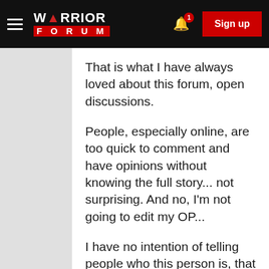Warrior Forum — Sign up
That is what I have always loved about this forum, open discussions.
People, especially online, are too quick to comment and have opinions without knowing the full story... not surprising. And no, I'm not going to edit my OP...
I have no intention of telling people who this person is, that would actually be